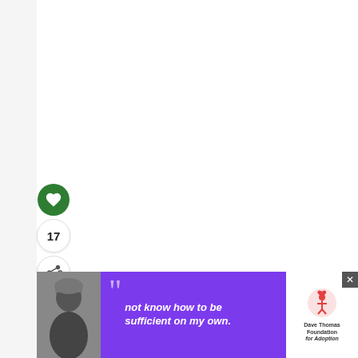[Figure (screenshot): White content area with social media interaction buttons: a green heart/like button, count badge showing 17, and a share button]
17
WHAT'S NEXT → 34+ Creative DIY Pallet Si...
[Figure (screenshot): Bottom advertisement banner for Dave Thomas Foundation for Adoption with quote 'not know how to be sufficient on my own.' on purple background with person silhouette]
not know how to be sufficient on my own.
Dave Thomas Foundation for Adoption